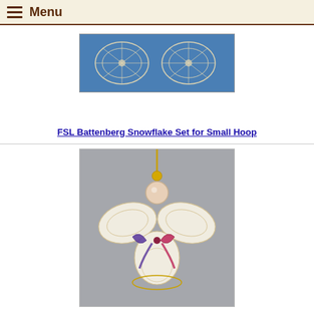Menu
[Figure (photo): FSL Battenberg lace snowflake embroidery on blue fabric]
FSL Battenberg Snowflake Set for Small Hoop
[Figure (photo): Lace angel ornament with pearl head, lace wings, and colorful ribbons hanging from gold chain]